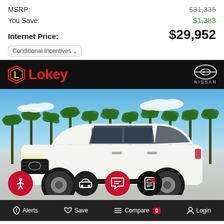MSRP: $31,335 (strikethrough)
You Save: $1,383
Internet Price: $29,952
Conditional Incentives
[Figure (photo): White Nissan Rogue SUV photographed outdoors with palm trees in background, displayed on Lokey Nissan dealership listing page]
Alerts  Save  Compare 0  Login